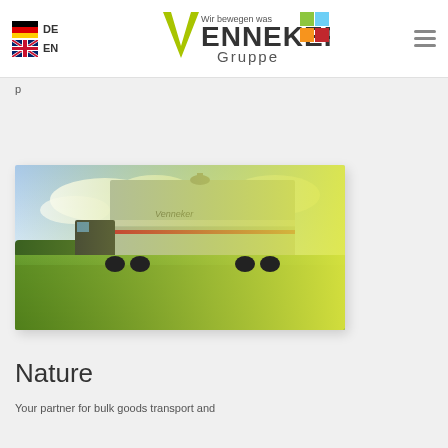DE  EN  Venneker Gruppe — Wir bewegen was
p
[Figure (photo): A Venneker tanker truck/trailer photographed from low angle among green crops (maize/grain field) with a bright cloudy sky. The truck is silver with red and black striping and 'Venneker' branding. The right portion of the image is soft-focus yellow-green foliage.]
Nature
Your partner for bulk goods transport and